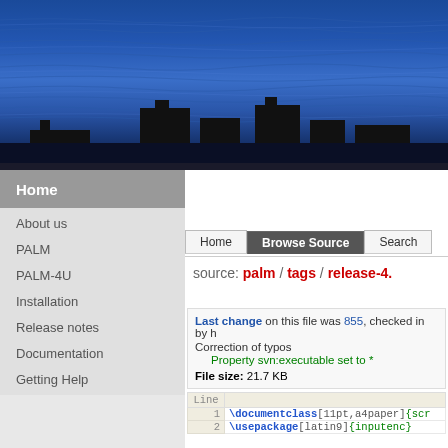[Figure (photo): Website header banner with blue cityscape silhouette and layered water/sky texture in blues, showing dark building silhouettes at the bottom against a blue layered background.]
Home
About us
PALM
PALM-4U
Installation
Release notes
Documentation
Getting Help
Home | Browse Source | Search
source: palm / tags / release-4.
Last change on this file was 855, checked in by h
Correction of typos
Property svn:executable set to *
File size: 21.7 KB
| Line |  |
| --- | --- |
| 1 | \documentclass[11pt,a4paper]{scr |
| 2 | \usepackage[latin9]{inputenc} |
| 3 | \usepackage[T1][fo... |